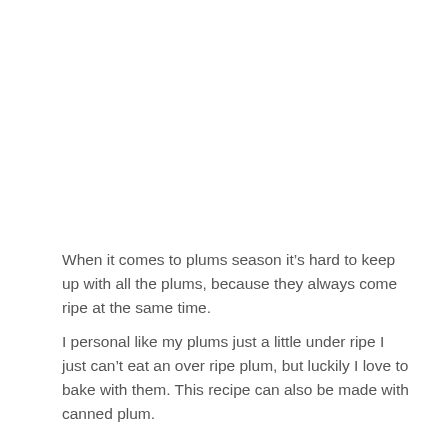When it comes to plums season it’s hard to keep up with all the plums, because they always come ripe at the same time.
I personal like my plums just a little under ripe I just can’t eat an over ripe plum, but luckily I love to bake with them. This recipe can also be made with canned plum.